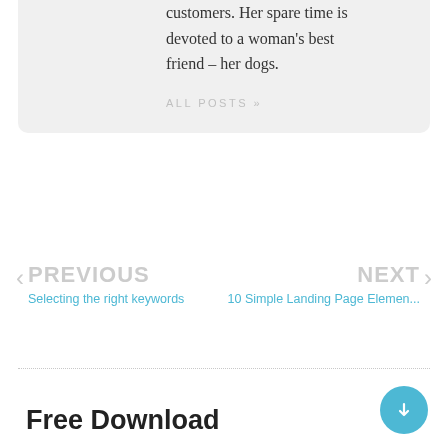customers. Her spare time is devoted to a woman's best friend – her dogs.
ALL POSTS »
PREVIOUS
Selecting the right keywords
NEXT
10 Simple Landing Page Elemen...
Free Download